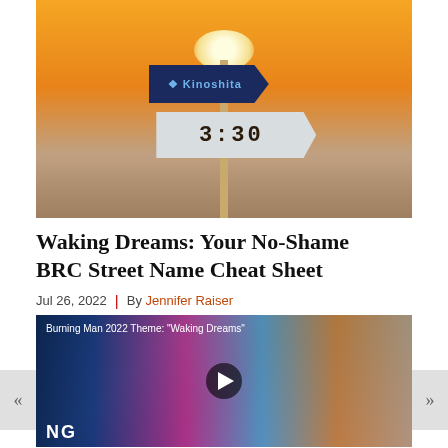[Figure (photo): Burning Man street sign post at sunset showing a dark arrow sign reading 'Kinoshita' and a lighter arrow sign reading '3:30' with circuit board design, against an orange sunset sky with mountains in background]
Waking Dreams: Your No-Shame BRC Street Name Cheat Sheet
Jul 26, 2022  |  By Jennifer Raiser
[Figure (screenshot): Video thumbnail for 'Burning Man 2022 Theme: Waking Dreams' showing colorful psychedelic imagery with a man in pink sunglasses and a play button overlay]